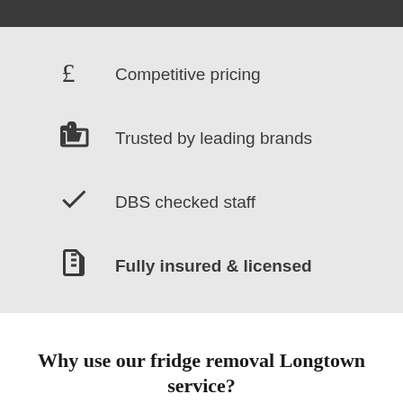Competitive pricing
Trusted by leading brands
DBS checked staff
Fully insured & licensed
Why use our fridge removal Longtown service?